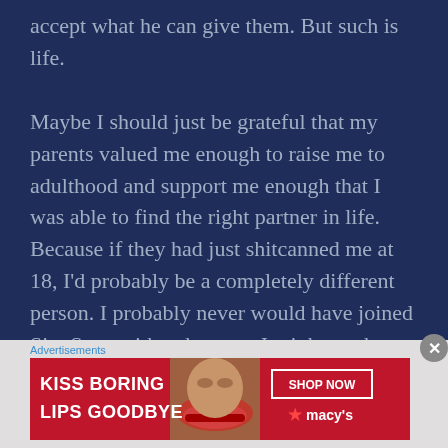accept what he can give them. But such is life.
Maybe I should just be grateful that my parents valued me enough to raise me to adulthood and support me enough that I was able to find the right partner in life. Because if they had just shitcanned me at 18, I'd probably be a completely different person. I probably never would have joined SingSnap, either, because I might not have ever learned to sing (I started in college)
Advertisements
[Figure (photo): Advertisement banner for Macy's with text 'KISS BORING LIPS GOODBYE' and a photo of a woman's face with red lips, and a 'SHOP NOW' button with the Macy's star logo.]